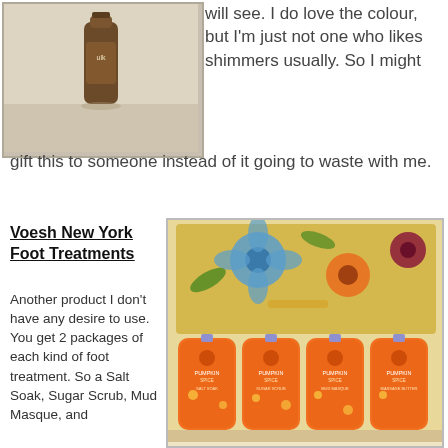[Figure (photo): A bottle of makeup product on a light wood surface]
will see. I do love the colour, but I'm just not one who likes shimmers usually. So I might gift this to someone instead of it going to waste with me.
Voesh New York Foot Treatments
Another product I don't have any desire to use. You get 2 packages of each kind of foot treatment. So a Salt Soak, Sugar Scrub, Mud Masque, and
[Figure (photo): Orange pumpkin spice foot treatment packets arranged in front of a colorful floral box]